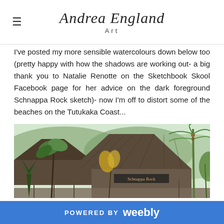Andrea England Art
I've posted my more sensible watercolours down below too (pretty happy with how the shadows are working out- a big thank you to Natalie Renotte on the Sketchbook Skool Facebook page for her advice on the dark foreground Schnappa Rock sketch)- now I'm off to distort some of the beaches on the Tutukaka Coast...
[Figure (illustration): Watercolour sketch of a building with thatched roof and tropical palms and vegetation, Schnappa Rock sign visible]
POWERED BY weebly